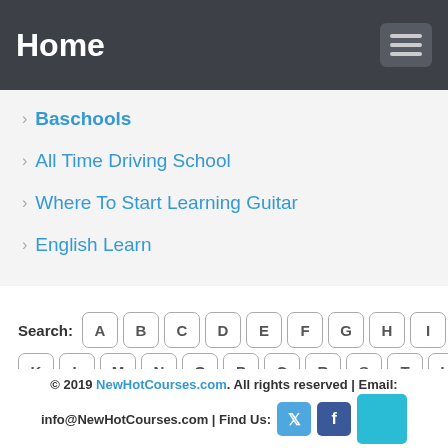Home
Baschools
All Time Driving School
Where To Start Learning Guitar
English Learn
Search: A B C D E F G H I J K L M N O P Q R S T U V W X Y Z
© 2019 NewHotCourses.com. All rights reserved | Email: info@NewHotCourses.com | Find Us: